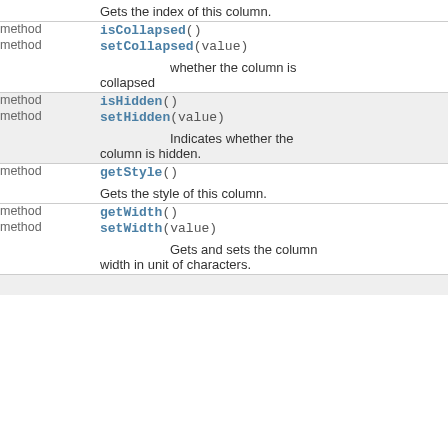| Type | Member |
| --- | --- |
|  | Gets the index of this column. |
| method | isCollapsed() |
| method | setCollapsed(value)

whether the column is collapsed |
| method | isHidden() |
| method | setHidden(value)

Indicates whether the column is hidden. |
| method | getStyle()  

Gets the style of this column. |
| method | getWidth() |
| method | setWidth(value)

Gets and sets the column width in unit of characters. |